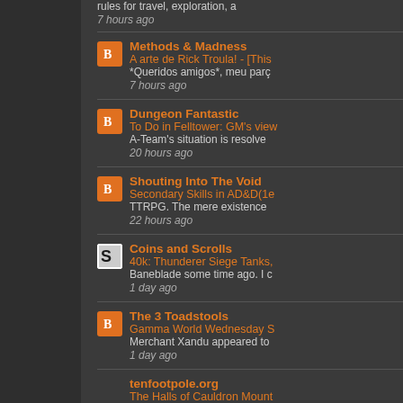rules for travel, exploration, a
7 hours ago
Methods & Madness
A arte de Rick Troula! - [This
*Queridos amigos*, meu parç
7 hours ago
Dungeon Fantastic
To Do in Felltower: GM's view
A-Team's situation is resolve
20 hours ago
Shouting Into The Void
Secondary Skills in AD&D(1e
TTRPG. The mere existence
22 hours ago
Coins and Scrolls
40k: Thunderer Siege Tanks,
Baneblade some time ago. I c
1 day ago
The 3 Toadstools
Gamma World Wednesday S
Merchant Xandu appeared to
1 day ago
tenfootpole.org
The Halls of Cauldron Mount
settlement of Knup-Tra spran